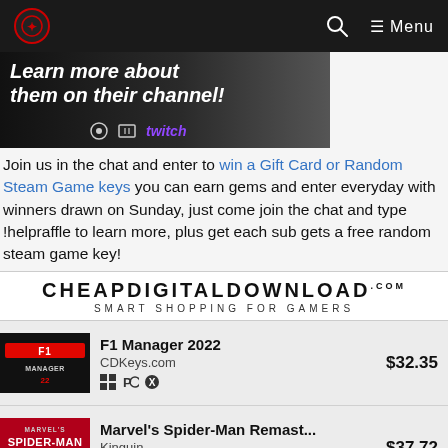Navigation bar with logo, search icon, and Menu
[Figure (screenshot): Video thumbnail showing text 'Learn more about them on their channel!' with Twitch logo and video controls overlay]
Join us in the chat and enter to win a Gift Card or Random Steam Game keys you can earn gems and enter everyday with winners drawn on Sunday, just come join the chat and type !helpraffle to learn more, plus get each sub gets a free random steam game key!
[Figure (logo): CHEAPDIGITALDOWNLOAD.COM logo with tagline SMART SHOPPING FOR GAMERS]
| Thumbnail | Title / Store / Platforms | Price |
| --- | --- | --- |
| [F1 Manager image] | F1 Manager 2022
CDKeys.com | $32.35 |
| [Spider-Man image] | Marvel's Spider-Man Remast...
Kinguin | $37.72 |